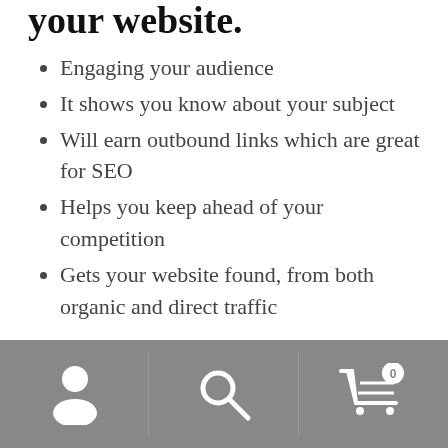your website.
Engaging your audience
It shows you know about your subject
Will earn outbound links which are great for SEO
Helps you keep ahead of your competition
Gets your website found, from both organic and direct traffic
What do we deliver?
Unique, exclusive content for every client
Manually-written without using any automation software
Navigation bar with person, search, and cart icons